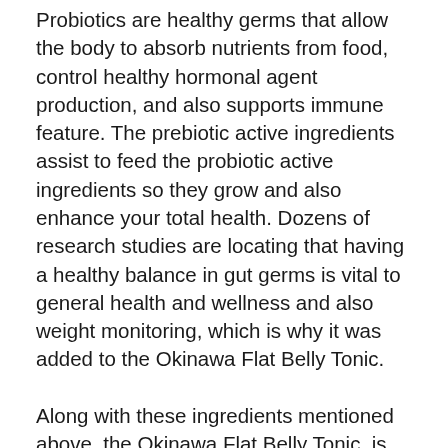Probiotics are healthy germs that allow the body to absorb nutrients from food, control healthy hormonal agent production, and also supports immune feature. The prebiotic active ingredients assist to feed the probiotic active ingredients so they grow and also enhance your total health. Dozens of research studies are locating that having a healthy balance in gut germs is vital to general health and wellness and also weight monitoring, which is why it was added to the Okinawa Flat Belly Tonic.
Along with these ingredients mentioned above, the Okinawa Flat Belly Tonic, is seasoned utilizing a compound flavored from stevia known as Rebaudioside A.